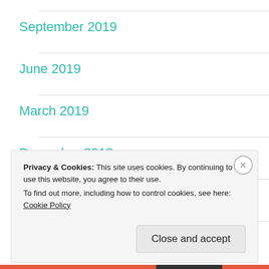September 2019
June 2019
March 2019
December 2018
November 2018
September 2018 (partial)
Privacy & Cookies: This site uses cookies. By continuing to use this website, you agree to their use.
To find out more, including how to control cookies, see here: Cookie Policy
Close and accept